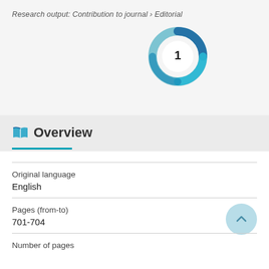Research output: Contribution to journal › Editorial
[Figure (donut-chart): Donut chart showing citation count of 1, rendered as a teal/blue spinning donut badge with the number 1 in the center]
Overview
Original language
English
Pages (from-to)
701-704
Number of pages